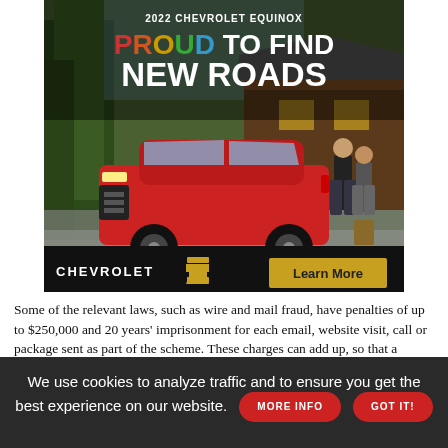[Figure (illustration): 2022 Chevrolet Equinox advertisement banner. Text reads '2022 CHEVROLET EQUINOX' at top, then 'PROUD TO FIND NEW ROADS' in large bold text. Red SUV (Chevrolet Equinox) parked outside a cabin/house with two people standing beside it. Bottom bar shows Chevrolet logo with bowtie emblem and a gold 'Learn More' button.]
Some of the relevant laws, such as wire and mail fraud, have penalties of up to $250,000 and 20 years' imprisonment for each email, website visit, call or package sent as part of the scheme. These charges can add up, so that a person who sent an email requesting the card, used Venmo to pay for it, then received it in the
We use cookies to analyze traffic and to ensure you get the best experience on our website.